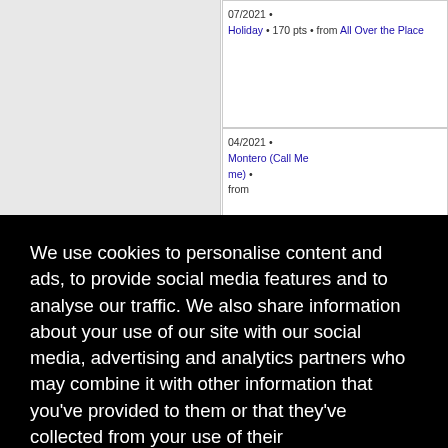[Figure (screenshot): A webpage screenshot showing a cookie consent overlay on top of a partially visible data table. The table has columns with grey cells and a right column showing music chart data (dates, song titles, points) in blue links. The cookie banner is a black overlay with white text reading 'We use cookies to personalise content and ads, to provide social media features and to analyse our traffic. We also share information about your use of our site with our social media, advertising and analytics partners who may combine it with other information that you've provided to them or that they've collected from your use of their services. Learn more' and a yellow 'Got it!' button. Behind the overlay, the right column shows: 07/2021 Holiday 170 pts from All Over the Place; 04/2021 Montero (Call Me by Me); entries about Wap, Sum, 65 pts, Turn, My Turn, The cture, edition], n a, 101 pts; 11/2020.]
We use cookies to personalise content and ads, to provide social media features and to analyse our traffic. We also share information about your use of our site with our social media, advertising and analytics partners who may combine it with other information that you've provided to them or that they've collected from your use of their services.  Learn more
Got it!